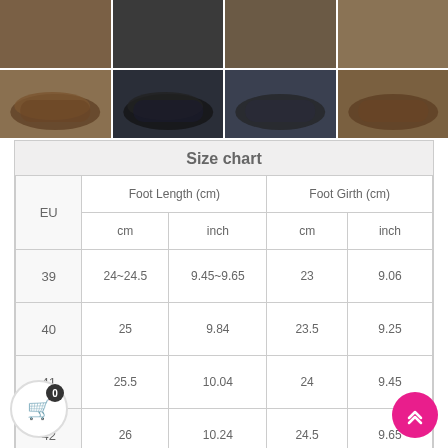[Figure (photo): Grid of 8 product photos showing casual slip-on shoes in various colors (brown, black, dark navy) arranged in 2 rows of 4]
| EU | Foot Length (cm)
cm | Foot Length (cm)
inch | Foot Girth (cm)
cm | Foot Girth (cm)
inch |
| --- | --- | --- | --- | --- |
| 39 | 24~24.5 | 9.45~9.65 | 23 | 9.06 |
| 40 | 25 | 9.84 | 23.5 | 9.25 |
| 41 | 25.5 | 10.04 | 24 | 9.45 |
| 42 | 26 | 10.24 | 24.5 | 9.65 |
| 43 | 26.5~27 | 10.43~10.63 | 25 | 9.84 |